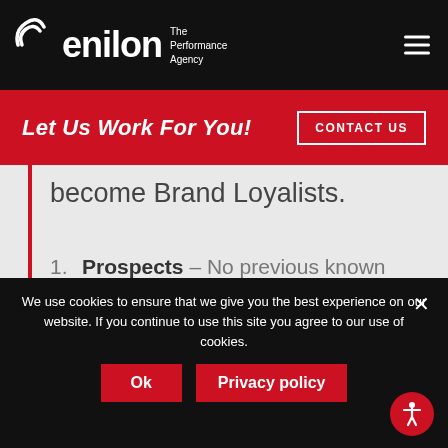enilon – The Performance Agency
Let Us Work For You! CONTACT US
become Brand Loyalists.
Prospects – No previous known interaction with the business
Retargeting – Users that have visited the website and/or engaged with social media
We use cookies to ensure that we give you the best experience on our website. If you continue to use this site you agree to our use of cookies.